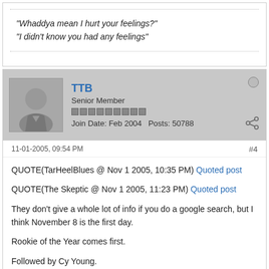"Whaddya mean I hurt your feelings?"
"I didn't know you had any feelings"
TTB
Senior Member
Join Date: Feb 2004   Posts: 50788
11-01-2005, 09:54 PM
#4
QUOTE(TarHeelBlues @ Nov 1 2005, 10:35 PM) Quoted post
QUOTE(The Skeptic @ Nov 1 2005, 11:23 PM) Quoted post
They don't give a whole lot of info if you do a google search, but I think November 8 is the first day.
Rookie of the Year comes first.
Followed by Cy Young.
Followed by MVP.
Manager is somewhere in between.